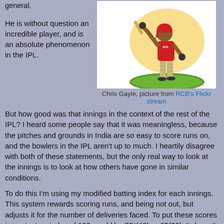general.
He is without question an incredible player, and is an absolute phenomenon in the IPL.
[Figure (illustration): Illustrated caricature of Chris Gayle, a cricket player in red RCB uniform, mid-swing pose, on a green oval ground]
Chris Gayle, picture from RCB's Flickr stream
But how good was that innings in the context of the rest of the IPL? I heard some people say that it was meaningless, because the pitches and grounds in India are so easy to score runs on, and the bowlers in the IPL aren't up to much. I heartily disagree with both of these statements, but the only real way to look at the innings is to look at how others have gone in similar conditions.
To do this I'm using my modified batting index for each innings. This system rewards scoring runs, and being not out, but adjusts it for the number of deliveries faced. To put these scores in context an index of 100 would be 70*(49) or 60(32). It doesn't take into account the context of the match